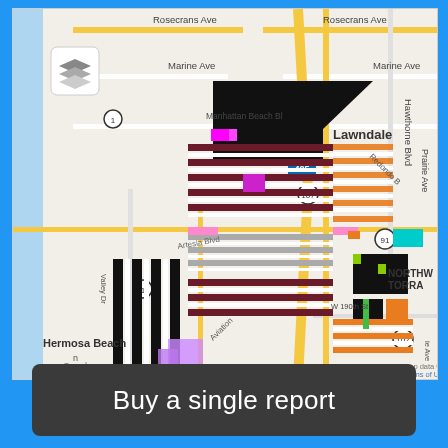[Figure (map): Google Maps aerial/street map of the Manhattan Beach, Lawndale, Hermosa Beach, and Torrance area in Los Angeles County, California. The map shows colored parcel overlays in various colors (black, magenta, orange, dark red/maroon, gray, yellow-green, white striped patterns) indicating different land use or zoning categories. Street labels visible include Rosecrans Ave, Marine Ave, Manhattan Beach Blvd, Hawthorne Blvd, Prairie Ave, Redondo Beach area, Artesia Blvd, Aviation Blvd, W 190th St, Valley Dr. Highways 405, 107, and 91 are shown. Place names: Lawndale, Hermosa Beach, NORTHWEST TORRANCE, WEST TO[RRANCE]. A layers icon button appears in the upper left. Map data ©2022 Google. Terms of Use noted.]
Buy a single report